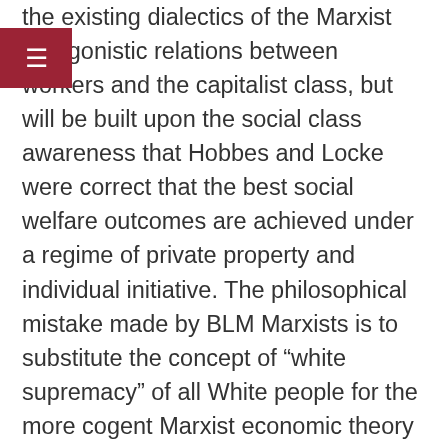the existing dialectics of the Marxist antagonistic relations between workers and the capitalist class, but will be built upon the social class awareness that Hobbes and Locke were correct that the best social welfare outcomes are achieved under a regime of private property and individual initiative. The philosophical mistake made by BLM Marxists is to substitute the concept of “white supremacy” of all White people for the more cogent Marxist economic theory of ruling class exploitation. The white supremacy of all White people, as a social class, does not fit into the Marxist ideology, but the categorization of the American ruling class does have a collectivist class consciousness that fits neatly into the Marxist two-class theory. The American white ruling class is now busy